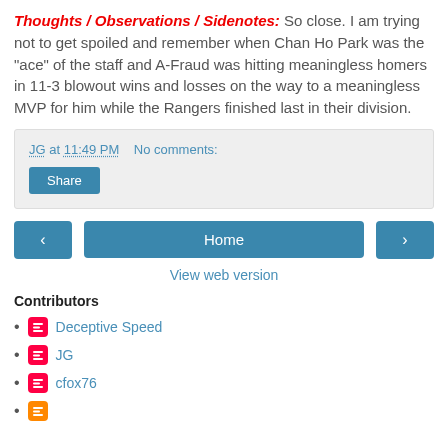Thoughts / Observations / Sidenotes: So close. I am trying not to get spoiled and remember when Chan Ho Park was the "ace" of the staff and A-Fraud was hitting meaningless homers in 11-3 blowout wins and losses on the way to a meaningless MVP for him while the Rangers finished last in their division.
JG at 11:49 PM   No comments:
Share
Home
View web version
Contributors
Deceptive Speed
JG
cfox76